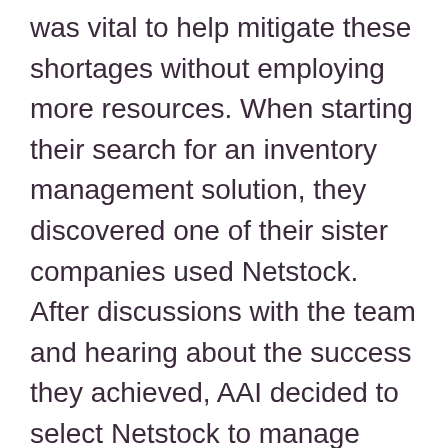was vital to help mitigate these shortages without employing more resources. When starting their search for an inventory management solution, they discovered one of their sister companies used Netstock. After discussions with the team and hearing about the success they achieved, AAI decided to select Netstock to manage their inventory.
“Our main goal was to reduce our inventory holding, and an interesting finding for me was that according to Netstock, we needed to be holding even more stock. The